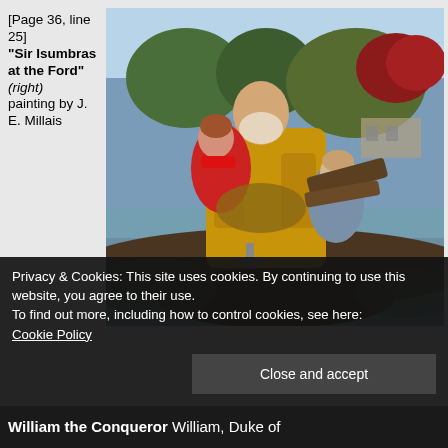[Page 36, line 25] "Sir Isumbras at the Ford" (right) painting by J. E. Millais
[Figure (photo): Painting 'Sir Isumbras at the Ford' by J. E. Millais — a knight in golden armour carries two children across a river ford, with a pastoral landscape in the background.]
Privacy & Cookies: This site uses cookies. By continuing to use this website, you agree to their use.
To find out more, including how to control cookies, see here:
Cookie Policy
Close and accept
William the Conqueror William, Duke of